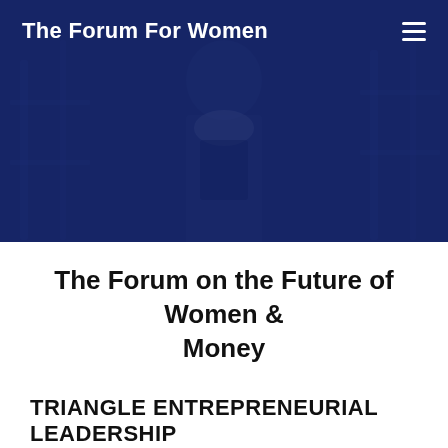[Figure (photo): Hero banner with dark blue overlay showing a professional woman in a business setting, dimly visible through the overlay]
The Forum For Women
The Forum on the Future of Women & Money
TRIANGLE ENTREPRENEURIAL LEADERSHIP